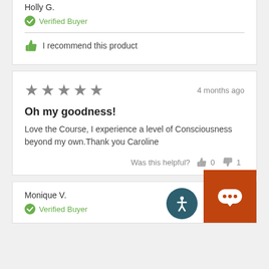Holly G.
Verified Buyer
I recommend this product
4 months ago
Oh my goodness!
Love the Course, I experience a level of Consciousness beyond my own. Thank you Caroline
Was this helpful? 0 1
Monique V.
Verified Buyer